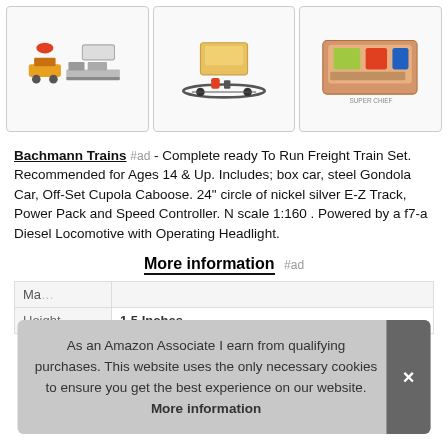[Figure (photo): Three product images of model train sets shown side by side in bordered cells]
Bachmann Trains #ad - Complete ready To Run Freight Train Set. Recommended for Ages 14 & Up. Includes; box car, steel Gondola Car, Off-Set Cupola Caboose. 24" circle of nickel silver E-Z Track, Power Pack and Speed Controller. N scale 1:160 . Powered by a f7-a Diesel Locomotive with Operating Headlight.
More information #ad
| Ma… |  |
| Height | 1.5 Inches |
As an Amazon Associate I earn from qualifying purchases. This website uses the only necessary cookies to ensure you get the best experience on our website. More information